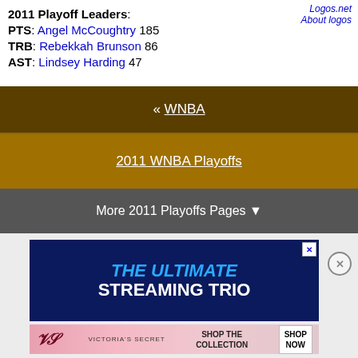2011 Playoff Leaders: PTS: Angel McCoughtry 185 TRB: Rebekkah Brunson 86 AST: Lindsey Harding 47
Logos.net About logos
« WNBA
2011 WNBA Playoffs
More 2011 Playoffs Pages ▼
[Figure (photo): Advertisement banner: THE ULTIMATE STREAMING TRIO in blue and white text on dark blue background]
[Figure (photo): Victoria's Secret advertisement: SHOP THE COLLECTION with SHOP NOW button]